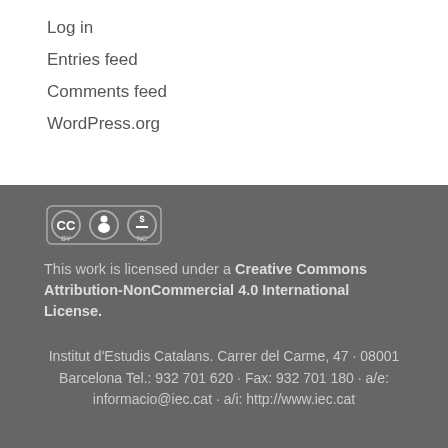Log in
Entries feed
Comments feed
WordPress.org
[Figure (logo): Creative Commons BY-NC license badge with three circles: CC, person, and dollar-sign with NC label]
This work is licensed under a Creative Commons Attribution-NonCommercial 4.0 International License.
Institut d'Estudis Catalans. Carrer del Carme, 47 · 08001 Barcelona Tel.: 932 701 620 · Fax: 932 701 180 · a/e: informacio@iec.cat · a/i: http://www.iec.cat